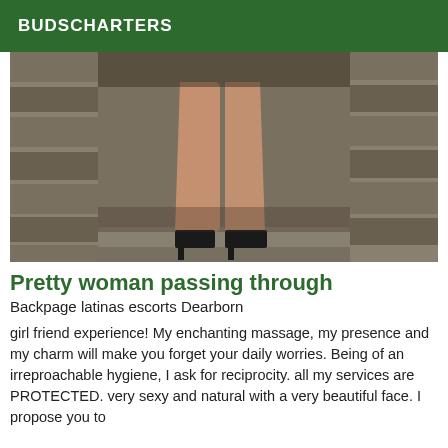BUDSCHARTERS
[Figure (photo): A photograph showing a person's legs and high heels near stone walls, partially cropped, dark tones.]
Pretty woman passing through
Backpage latinas escorts Dearborn
girl friend experience! My enchanting massage, my presence and my charm will make you forget your daily worries. Being of an irreproachable hygiene, I ask for reciprocity. all my services are PROTECTED. very sexy and natural with a very beautiful face. I propose you to